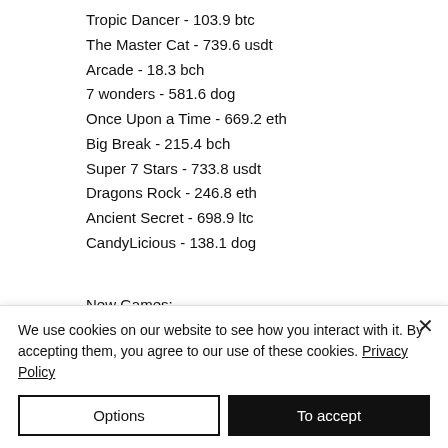Tropic Dancer - 103.9 btc
The Master Cat - 739.6 usdt
Arcade - 18.3 bch
7 wonders - 581.6 dog
Once Upon a Time - 669.2 eth
Big Break - 215.4 bch
Super 7 Stars - 733.8 usdt
Dragons Rock - 246.8 eth
Ancient Secret - 698.9 ltc
CandyLicious - 138.1 dog
New Games:
Bitcoin Penguin Casino Secrets of Christmas
We use cookies on our website to see how you interact with it. By accepting them, you agree to our use of these cookies. Privacy Policy
Options
To accept